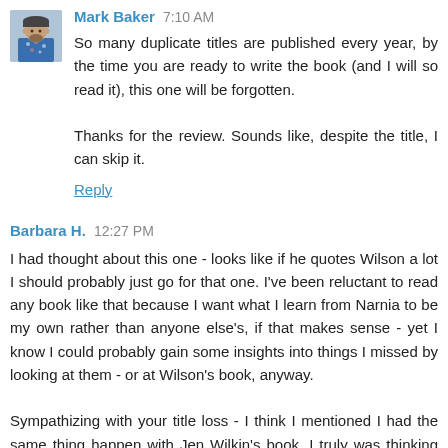Mark Baker 7:10 AM
So many duplicate titles are published every year, by the time you are ready to write the book (and I will so read it), this one will be forgotten.

Thanks for the review. Sounds like, despite the title, I can skip it.
Reply
Barbara H. 12:27 PM
I had thought about this one - looks like if he quotes Wilson a lot I should probably just go for that one. I've been reluctant to read any book like that because I want what I learn from Narnia to be my own rather than anyone else's, if that makes sense - yet I know I could probably gain some insights into things I missed by looking at them - or at Wilson's book, anyway.

Sympathizing with your title loss - I think I mentioned I had the same thing happen with Jen Wilkin's book. I truly was thinking about writing a book with the same name title.